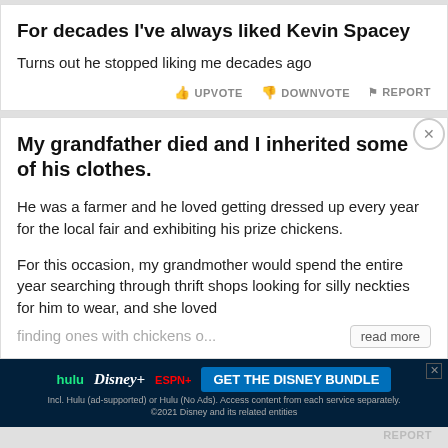For decades I've always liked Kevin Spacey
Turns out he stopped liking me decades ago
My grandfather died and I inherited some of his clothes.
He was a farmer and he loved getting dressed up every year for the local fair and exhibiting his prize chickens.
For this occasion, my grandmother would spend the entire year searching through thrift shops looking for silly neckties for him to wear, and she loved finding ones with chickens o...
[Figure (infographic): Hulu Disney+ ESPN+ GET THE DISNEY BUNDLE advertisement banner with streaming service logos]